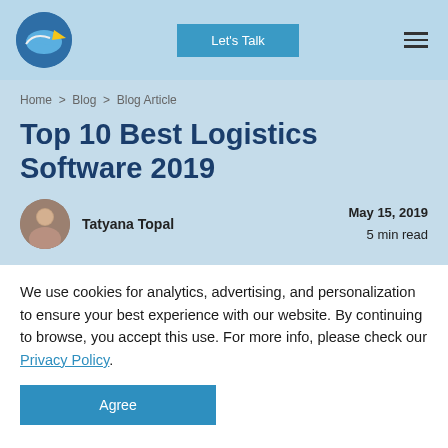Let's Talk
Home > Blog > Blog Article
Top 10 Best Logistics Software 2019
Tatyana Topal   May 15, 2019   5 min read
We use cookies for analytics, advertising, and personalization to ensure your best experience with our website. By continuing to browse, you accept this use. For more info, please check our Privacy Policy.
Agree